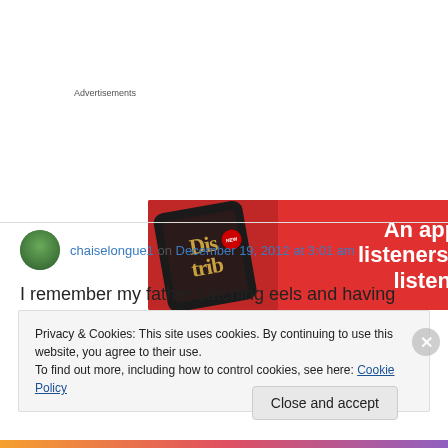Advertisements
[Figure (illustration): Red advertisement banner for a music app with phone mockup showing 'Distrib' and text 'An app by listeners, for listeners.']
chaiselongue1 on December 19, 2012 at 3:01 am
I remember my father catching eels and having
Privacy & Cookies: This site uses cookies. By continuing to use this website, you agree to their use.
To find out more, including how to control cookies, see here: Cookie Policy
Close and accept